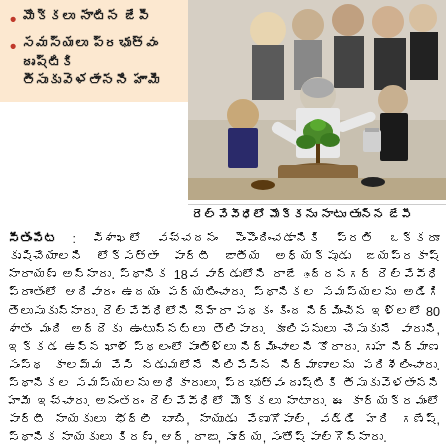మొక్కలు నాటిన జేపీ
సమస్యలు ప్రభుత్వం దృష్టికి తీసుకువెళతానని హామీ
[Figure (photo): JP (Jayaprakash Narayan) planting a sapling/tree in Rajahmundry railway area, with several people assisting and watching]
రెల్వేవీధిలో మొక్కను నాటు తున్న జేపీ
సీతంపేట : విశాఖలో వచ్చదనం పెంపొందించడానికి ప్రతి ఒక్కరూ కృషిచేయాలని లోక్‌సత్తా పార్టీ జాతీయ అధ్యక్షుడు జయప్రకాష్ నారాయణ్ అన్నారు. స్థానిక 18వ వార్డులోని రాజే ంద్రనగర్ రెల్వేవీధి ప్రాంతంలో ఆదివారం ఉదయం పర్యటించారు. స్థానికల సమస్యలను అడిగి తెలుసుకున్నారు. రెల్వేవీధిలోని నెహ్రా పథకం కింద నిర్మించిన ఇళ్లలో 80 శాతం మంది అద్దెకు ఉంటున్నట్లు తెలిపారు. కూలిపనులు చేసుకునే వారుని, ఇక్కడ ఉన్న ఖాళీ స్థలంలో పాంతిళ్లు నిర్మించాలని కోరారు. గృహ నిర్మాణ సంస్థ కాలమ్మ వేసి నడుమలోనే నిలిపేసిన నిర్మాణాలను పరిశీలించారు. స్థానికల సమస్యలను అధికారులు, ప్రభుత్వం దృష్టికి తీసుకువెళతానని హామీ ఇచ్చారు. అనంతరం రెల్వేవీధిలో మొక్కలు నాటారు. ఈ కార్యక్రమంలో పార్టీ నాయకులు భీఠ్లీ బాబి, నాయుడు వేణుగోపాల్, వడ్డి హరి గణేష్, స్థానిక నాయకులు కిరణ్, ఆర్, రాజు, సూర్య, సంతోష్ పాల్గొన్నారు.